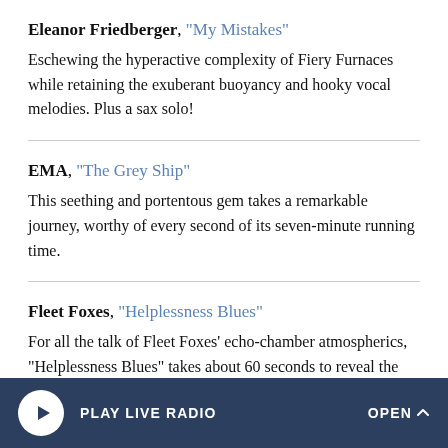Eleanor Friedberger, "My Mistakes" — Eschewing the hyperactive complexity of Fiery Furnaces while retaining the exuberant buoyancy and hooky vocal melodies. Plus a sax solo!
EMA, "The Grey Ship" — This seething and portentous gem takes a remarkable journey, worthy of every second of its seven-minute running time.
Fleet Foxes, "Helplessness Blues" — For all the talk of Fleet Foxes' echo-chamber atmospherics, "Helplessness Blues" takes about 60 seconds to reveal the
PLAY LIVE RADIO   OPEN ^